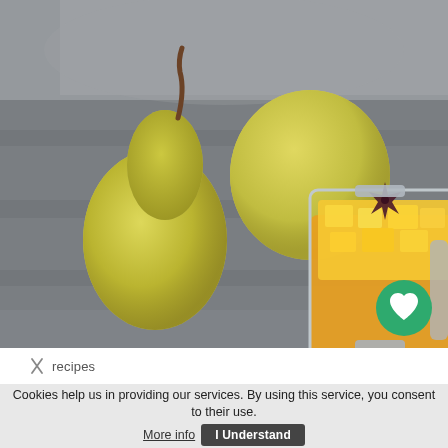[Figure (photo): Photograph of yellow/green pears on a grey wooden surface next to a square glass jar with a metal clamp lid containing golden/yellow preserved fruit pieces, with a star anise on top. Grey stone background.]
recipes
Cookies help us in providing our services. By using this service, you consent to their use. More info  I Understand